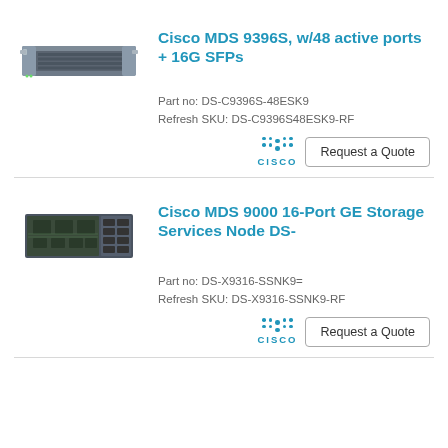[Figure (photo): Cisco MDS 9396S rackmount storage networking switch, front view showing port array]
Cisco MDS 9396S, w/48 active ports + 16G SFPs
Part no: DS-C9396S-48ESK9
Refresh SKU: DS-C9396S48ESK9-RF
[Figure (logo): Cisco logo with dot pattern above CISCO wordmark]
Request a Quote
[Figure (photo): Cisco MDS 9000 16-Port GE Storage Services Node module card, top view showing ports and circuit board]
Cisco MDS 9000 16-Port GE Storage Services Node DS-
Part no: DS-X9316-SSNK9=
Refresh SKU: DS-X9316-SSNK9-RF
[Figure (logo): Cisco logo with dot pattern above CISCO wordmark]
Request a Quote